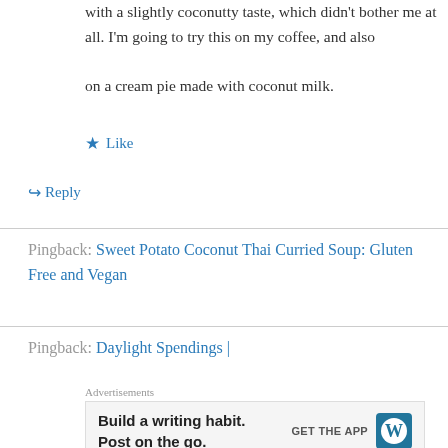with a slightly coconutty taste, which didn't bother me at all. I'm going to try this on my coffee, and also on a cream pie made with coconut milk.
★ Like
↳ Reply
Pingback: Sweet Potato Coconut Thai Curried Soup: Gluten Free and Vegan
Pingback: Daylight Spendings |
[Figure (screenshot): WordPress advertisement: Build a writing habit. Post on the go. GET THE APP with WordPress logo]